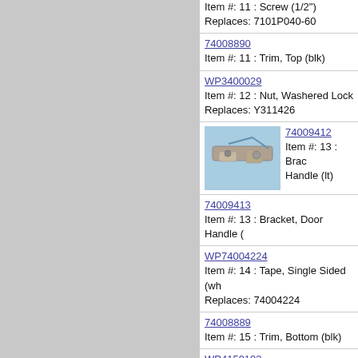Item #: 11 : Screw (1/2") Replaces: 7101P040-60
74008890
Item #: 11 : Trim, Top (blk)
WP3400029
Item #: 12 : Nut, Washered Lock
Replaces: Y311426
74009412
Item #: 13 : Bracket, Door Handle (lt)
74009413
Item #: 13 : Bracket, Door Handle (
WP74004224
Item #: 14 : Tape, Single Sided (wh
Replaces: 74004224
74008889
Item #: 15 : Trim, Bottom (blk)
WP4159193
Item #: 16 : Screw (10-24x5/16-ni)
Replaces: 7101P282-60
W11233072
Item #: 17 : Screw (8ab1/2-ni)
Replaces: 74001530